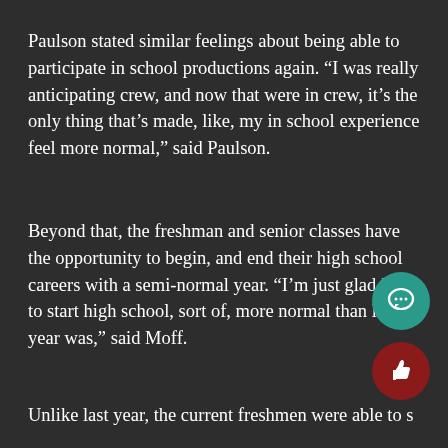Paulson stated similar feelings about being able to participate in school productions again. “I was really anticipating crew, and now that were in crew, it’s the only thing that’s made, like, my in school experience feel more normal,” said Paulson.
Beyond that, the freshman and senior classes have the opportunity to begin, and end their high school careers with a semi-normal year. “I’m just glad I get to start high school, sort of, more normal than last year was,” said Moff.
Unlike last year, the current freshmen were able to s